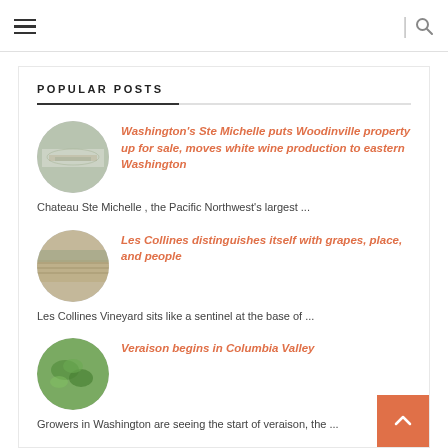Navigation bar with hamburger menu and search icon
POPULAR POSTS
Washington's Ste Michelle puts Woodinville property up for sale, moves white wine production to eastern Washington — Chateau Ste Michelle , the Pacific Northwest's largest ...
Les Collines distinguishes itself with grapes, place, and people — Les Collines Vineyard  sits like a sentinel at the base of ...
Veraison begins in Columbia Valley — Growers in Washington are seeing the start of veraison, the ...